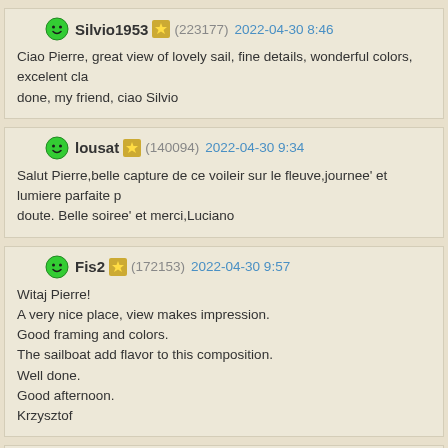Silvio1953 (223177) 2022-04-30 8:46
Ciao Pierre, great view of lovely sail, fine details, wonderful colors, excelent cla... done, my friend, ciao Silvio
lousat (140094) 2022-04-30 9:34
Salut Pierre,belle capture de ce voileir sur le fleuve,journee' et lumiere parfaite p... doute. Belle soiree' et merci,Luciano
Fis2 (172153) 2022-04-30 9:57
Witaj Pierre!
A very nice place, view makes impression.
Good framing and colors.
The sailboat add flavor to this composition.
Well done.
Good afternoon.
Krzysztof
COSTANTINO (117978) 2022-04-30 10:18